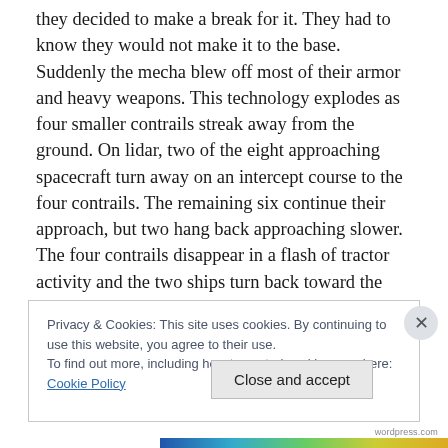they decided to make a break for it. They had to know they would not make it to the base. Suddenly the mecha blew off most of their armor and heavy weapons. This technology explodes as four smaller contrails streak away from the ground. On lidar, two of the eight approaching spacecraft turn away on an intercept course to the four contrails. The remaining six continue their approach, but two hang back approaching slower. The four contrails disappear in a flash of tractor activity and the two ships turn back toward the sky. The two slower ships stop their approach and the first releases a small star-like missile,
Privacy & Cookies: This site uses cookies. By continuing to use this website, you agree to their use.
To find out more, including how to control cookies, see here: Cookie Policy
Close and accept